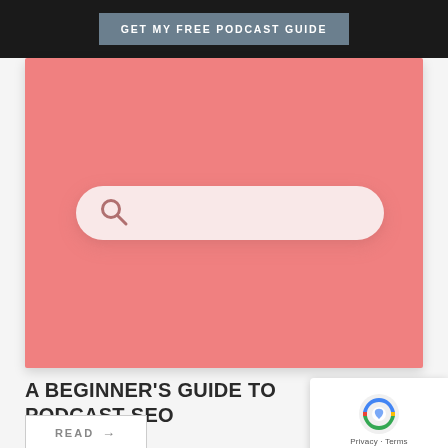GET MY FREE PODCAST GUIDE
[Figure (photo): Pink background with a white/light pink search bar featuring a search magnifying glass icon, resembling a 3D rendered illustration]
A BEGINNER'S GUIDE TO PODCAST SEO
READ →